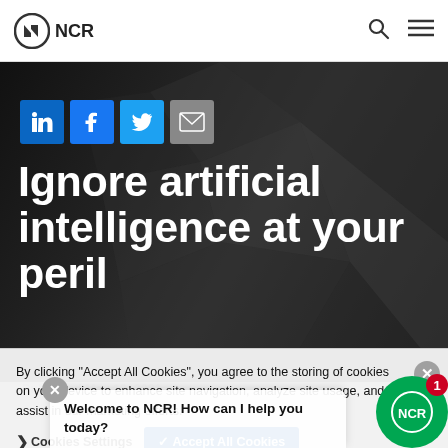NCR
[Figure (screenshot): Dark geometric polygon background hero image for article 'Ignore artificial intelligence at your peril']
[Figure (infographic): Social sharing icons: LinkedIn (blue), Facebook (blue), Twitter (light blue), Email (grey)]
Ignore artificial intelligence at your peril
Published May 12, 2021
By clicking “Accept All Cookies”, you agree to the storing of cookies on your device to enhance site navigation, analyze site usage, and assist in our marketing efforts.
Welcome to NCR! How can I help you today?